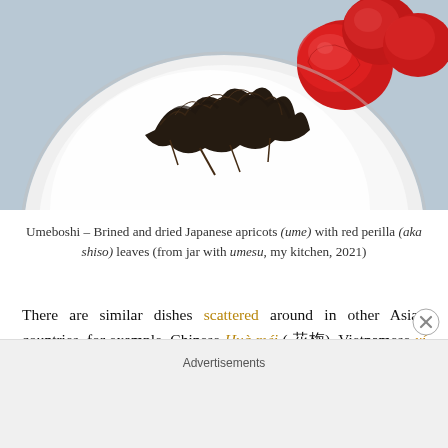[Figure (photo): Photo of umeboshi — brined and dried Japanese apricots (ume) with red perilla leaves on a white plate, viewed from above]
Umeboshi – Brined and dried Japanese apricots (ume) with red perilla (aka shiso) leaves (from jar with umesu, my kitchen, 2021)
There are similar dishes scattered around in other Asian countries, for example, Chinese Huà méi (花梅), Vietnamese xí muội, or Filipino kiamoy, each their own version of preserved ume fruit. Some people believe that one or more of these preserves might have been the origin of Mexican chamoy; for
Advertisements